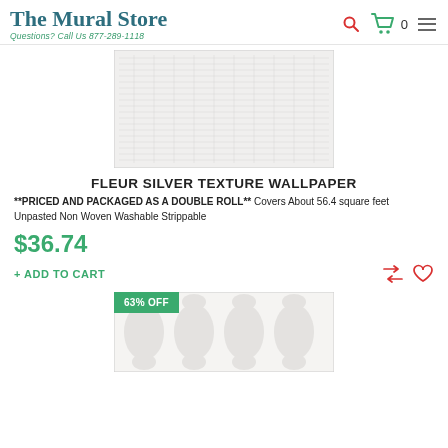The Mural Store — Questions? Call Us 877-289-1118
[Figure (photo): Fleur Silver Texture Wallpaper product photo showing a light grey woven/textured pattern]
FLEUR SILVER TEXTURE WALLPAPER
**PRICED AND PACKAGED AS A DOUBLE ROLL** Covers About 56.4 square feet Unpasted Non Woven Washable Strippable
$36.74
+ ADD TO CART
[Figure (photo): Second product photo partially visible at bottom, showing a white/silver floral damask wallpaper pattern, with a 63% OFF badge]